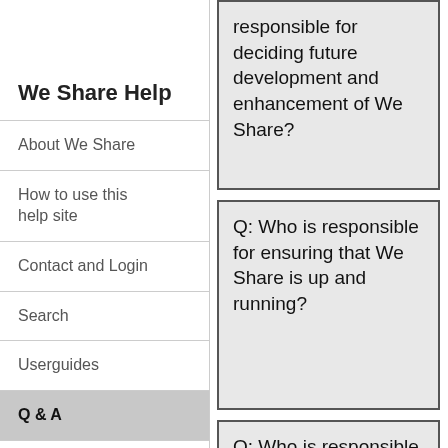We Share Help
About We Share
How to use this help site
Contact and Login
Search
Userguides
Q & A
Features
responsible for deciding future development and enhancement of We Share?
Q: Who is responsible for ensuring that We Share is up and running?
Q: Who is responsible for providing user